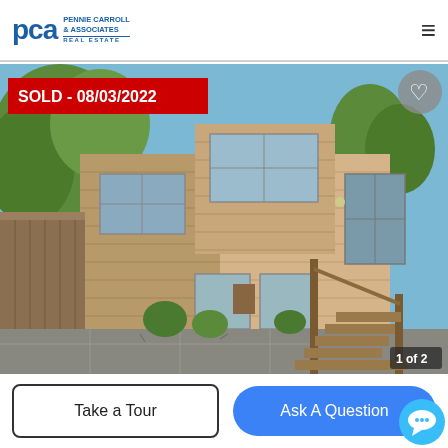Pennie Carroll & Associates Real Estate
[Figure (photo): Exterior photo of a two-story townhouse with tan/beige horizontal siding, wooden fence on left, wooden staircase on right, concrete patio, green landscaping. Red badge overlay reading SOLD - 08/03/2022. Photo counter showing 1 of 2.]
SOLD - 08/03/2022
1 of 2
Take a Tour
Ask A Question